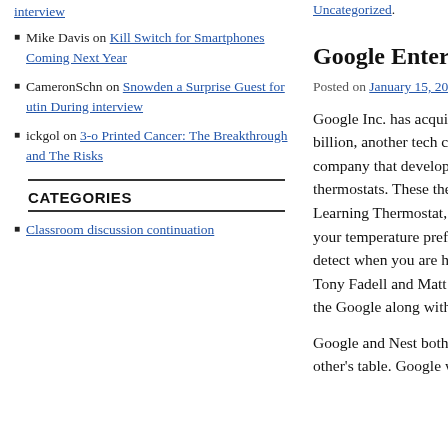Mike Davis on Kill Switch for Smartphones Coming Next Year
CameronSchn on Snowden a Surprise Guest for utin During interview
ickgol on 3-o Printed Cancer: The Breakthrough and The Risks
CATEGORIES
Classroom discussion continuation
Uncategorized.
Google Enters Your Home
Posted on January 15, 2014 | 4 Comments
Google Inc. has acquired, at the price tag of $3.8 billion, another tech company called Nest. Nest is a company that develops electronic, Wi-Fi enabled thermostats. These thermostats, called the Nest Learning Thermostat, are capable of both analyzing your temperature preferences and they are able to detect when you are home. The founders of Nest, Tony Fadell and Matt Rogers, will also be joining the Google along with their company.
Google and Nest both have a lot to bring to each other's table. Google would be